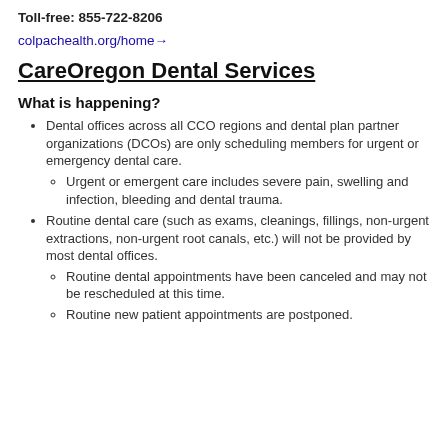Toll-free: 855-722-8206
colpachealth.org/home→
CareOregon Dental Services
What is happening?
Dental offices across all CCO regions and dental plan partner organizations (DCOs) are only scheduling members for urgent or emergency dental care.
Urgent or emergent care includes severe pain, swelling and infection, bleeding and dental trauma.
Routine dental care (such as exams, cleanings, fillings, non-urgent extractions, non-urgent root canals, etc.) will not be provided by most dental offices.
Routine dental appointments have been canceled and may not be rescheduled at this time.
Routine new patient appointments are postponed.